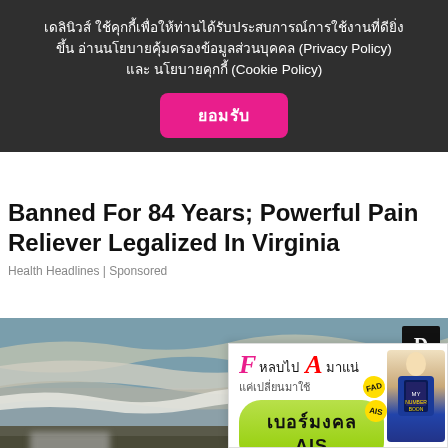เดลินิวส์ ใช้คุกกี้เพื่อให้ท่านได้รับประสบการณ์การใช้งานที่ดียิ่งขึ้น อ่านนโยบายคุ้มครองข้อมูลส่วนบุคคล (Privacy Policy) และ นโยบายคุกกี้ (Cookie Policy)
ยอมรับ
Banned For 84 Years; Powerful Pain Reliever Legalized In Virginia
Health Headlines | Sponsored
[Figure (photo): Beach photo showing ocean waves with two blurred/pixelated figures in the foreground, with a D logo watermark in top right corner]
[Figure (infographic): Thai AIS mobile carrier advertisement banner reading 'F หลบไป A มาแน่ แค่เปลี่ยนมาใช้ เบอร์มงคล AIS' with green button and person holding phone]